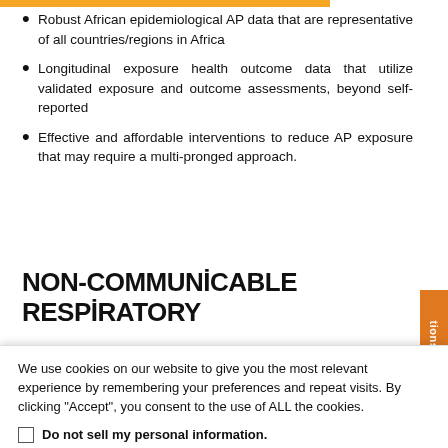Robust African epidemiological AP data that are representative of all countries/regions in Africa
Longitudinal exposure health outcome data that utilize validated exposure and outcome assessments, beyond self-reported
Effective and affordable interventions to reduce AP exposure that may require a multi-pronged approach.
NON-COMMUNICABLE RESPIRATORY
We use cookies on our website to give you the most relevant experience by remembering your preferences and repeat visits. By clicking "Accept", you consent to the use of ALL the cookies.
Do not sell my personal information.
Cookie Settings   Accept